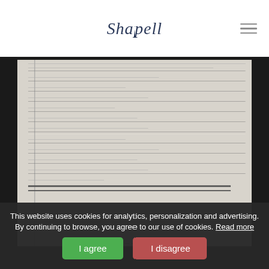Shapell
[Figure (photo): Scanned historical handwritten document page showing ruled lines with handwritten text (mostly illegible due to image quality/blur), with a left margin line and horizontal ruled lines throughout. Two double lines appear near the bottom of the document.]
This website uses cookies for analytics, personalization and advertising. By continuing to browse, you agree to our use of cookies. Read more
I agree
I disagree